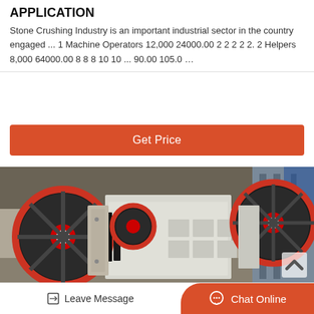APPLICATION
Stone Crushing Industry is an important industrial sector in the country engaged ... 1 Machine Operators 12,000 24000.00 2 2 2 2 2. 2 Helpers 8,000 64000.00 8 8 8 10 10 ... 90.00 105.0 …
[Figure (other): Orange 'Get Price' button]
[Figure (photo): Industrial stone crushing machinery with red and black flywheels, white metal body, photographed in a factory setting]
Leave Message
Chat Online